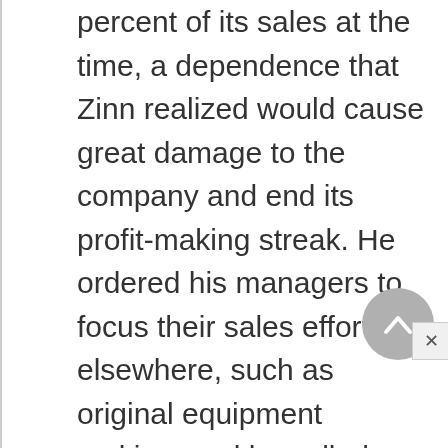percent of its sales at the time, a dependence that Zinn realized would cause great damage to the company and end its profit-making streak. He ordered his managers to focus their sales efforts elsewhere, such as original equipment making, and he called a meeting of senior executives, informing them of the severity of the impending crisis. He gave the gathered executives one week to formulate a plan to deal with the collapse of Asian markets. "That